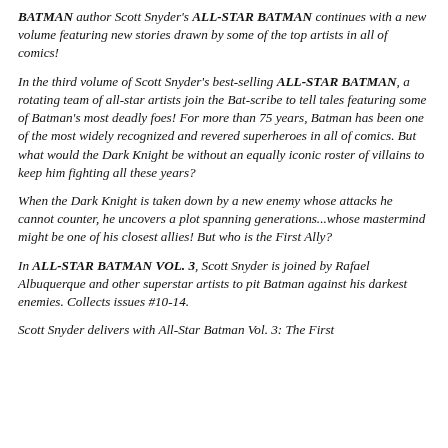BATMAN author Scott Snyder's ALL-STAR BATMAN continues with a new volume featuring new stories drawn by some of the top artists in all of comics!
In the third volume of Scott Snyder's best-selling ALL-STAR BATMAN, a rotating team of all-star artists join the Bat-scribe to tell tales featuring some of Batman's most deadly foes! For more than 75 years, Batman has been one of the most widely recognized and revered superheroes in all of comics. But what would the Dark Knight be without an equally iconic roster of villains to keep him fighting all these years?
When the Dark Knight is taken down by a new enemy whose attacks he cannot counter, he uncovers a plot spanning generations...whose mastermind might be one of his closest allies! But who is the First Ally?
In ALL-STAR BATMAN VOL. 3, Scott Snyder is joined by Rafael Albuquerque and other superstar artists to pit Batman against his darkest enemies. Collects issues #10-14.
Scott Snyder delivers with All-Star Batman Vol. 3: The First